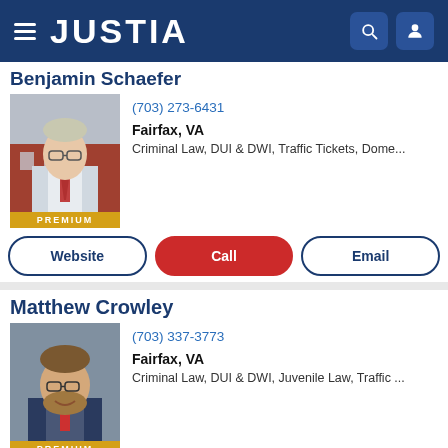JUSTIA
Benjamin Schaefer
(703) 273-6431
Fairfax, VA
Criminal Law, DUI & DWI, Traffic Tickets, Dome...
Matthew Crowley
(703) 337-3773
Fairfax, VA
Criminal Law, DUI & DWI, Juvenile Law, Traffic ...